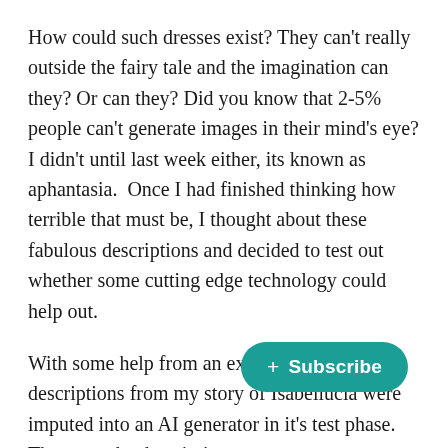How could such dresses exist? They can't really outside the fairy tale and the imagination can they? Or can they? Did you know that 2-5% people can't generate images in their mind's eye? I didn't until last week either, its known as aphantasia.  Once I had finished thinking how terrible that must be, I thought about these fabulous descriptions and decided to test out whether some cutting edge technology could help out.
With some help from an expert some descriptions from my story of Isabellucia were imputed into an AI generator in it's test phase. These are the descriptions we gave:
“An elegant dress as pale grey as the d[awn] [shimmerin]g with white opals clinging to the dres[s] [and] reflecting both the setting moonlight and rising
[Figure (other): Teal/green rounded rectangle Subscribe button with a plus sign, overlaying the bottom-right of the text]